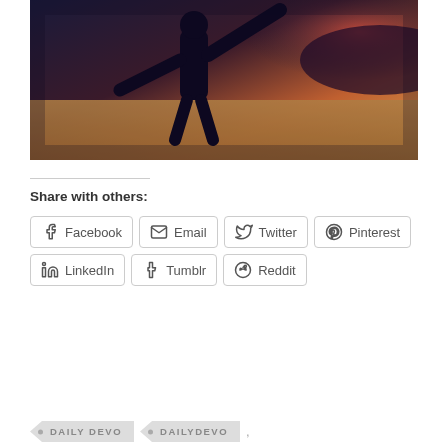[Figure (photo): Silhouette of a person with arms outstretched against a warm sunset/golden hour sky over a beach or water, with purple and orange tones]
Share with others:
Facebook
Email
Twitter
Pinterest
LinkedIn
Tumblr
Reddit
DAILY DEVO
DAILYDEVO